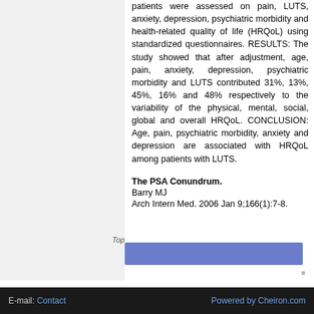patients were assessed on pain, LUTS, anxiety, depression, psychiatric morbidity and health-related quality of life (HRQoL) using standardized questionnaires. RESULTS: The study showed that after adjustment, age, pain, anxiety, depression, psychiatric morbidity and LUTS contributed 31%, 13%, 45%, 16% and 48% respectively to the variability of the physical, mental, social, global and overall HRQoL. CONCLUSION: Age, pain, psychiatric morbidity, anxiety and depression are associated with HRQoL among patients with LUTS.
The PSA Conundrum.
Barry MJ
Arch Intern Med. 2006 Jan 9;166(1):7-8.
[Figure (other): Blue button/banner element partially visible at bottom of content area]
E-mail: Contact    Powered by Cheiron.com